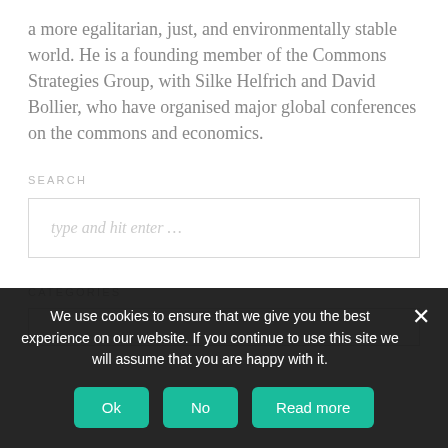a more egalitarian, just, and environmentally stable world. He is a founding member of the Commons Strategies Group, with Silke Helfrich and David Bollier, who have organised major global conferences on the commons and economics.
SEARCH
type and hit enter ...
CATEGORIES
We use cookies to ensure that we give you the best experience on our website. If you continue to use this site we will assume that you are happy with it.